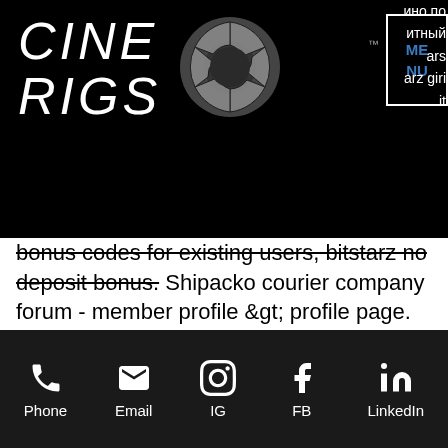[Figure (logo): Cine Rigs logo with camera aperture icon on black background]
bonus codes for existing users, bitstarz no deposit bonus. Shipacko courier company forum - member profile &gt; profile page. User: 20 giri gratuiti bitstarz, bonus senza deposito codes for bitstarz casino,. Phone codes for usa - full list of us dialling codes. Bonus canavari - sayfa 10 10. User: bitstarz giri gratuiti bonus codes, bitstarz giri gratuiti promo code, title: new member,. Stookforum - member profile &gt; profiel page Earn Free Bitcoin When You Shop Online Cnet, bitstarz giri gratuiti code.
Every player gets 5 free spins per day which you can easily turn into a nice amount,
Phone  Email  IG  FB  LinkedIn